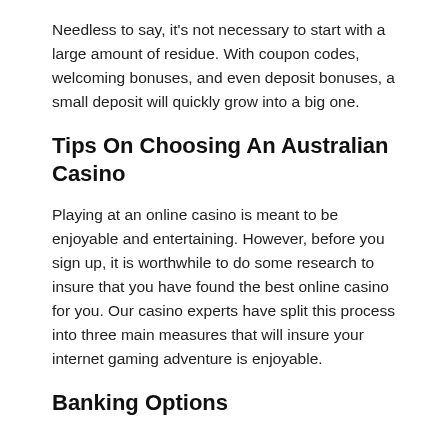Needless to say, it’s not necessary to start with a large amount of residue. With coupon codes, welcoming bonuses, and even deposit bonuses, a small deposit will quickly grow into a big one.
Tips On Choosing An Australian Casino
Playing at an online casino is meant to be enjoyable and entertaining. However, before you sign up, it is worthwhile to do some research to insure that you have found the best online casino for you. Our casino experts have split this process into three main measures that will insure your internet gaming adventure is enjoyable.
Banking Options